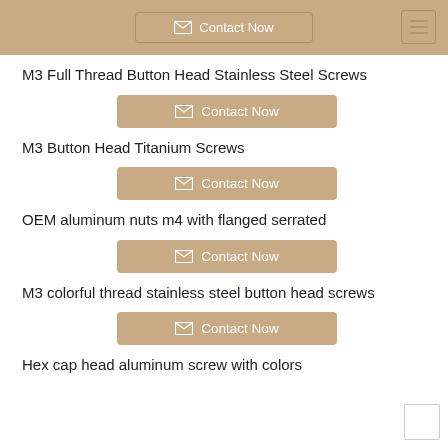Contact Now
M3 Full Thread Button Head Stainless Steel Screws
Contact Now
M3 Button Head Titanium Screws
Contact Now
OEM aluminum nuts m4 with flanged serrated
Contact Now
M3 colorful thread stainless steel button head screws
Contact Now
Hex cap head aluminum screw with colors